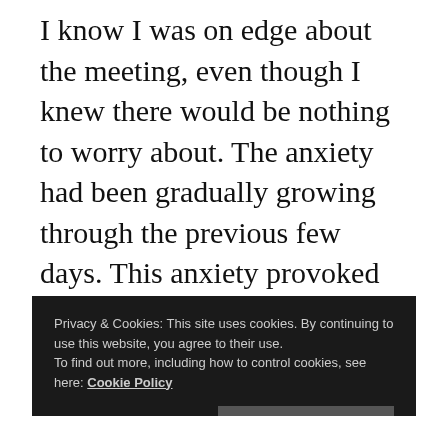I know I was on edge about the meeting, even though I knew there would be nothing to worry about. The anxiety had been gradually growing through the previous few days. This anxiety provoked the warning signs of an incipient migraine/stress headache on Tuesday morning. Luckily I caught it in time with painkillers so that it didn't develop into a full blown migraine and after the meeting I was left tired but feeling more at ease.
Privacy & Cookies: This site uses cookies. By continuing to use this website, you agree to their use.
To find out more, including how to control cookies, see here: Cookie Policy
Close and accept